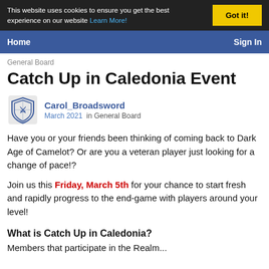This website uses cookies to ensure you get the best experience on our website Learn More!
Home   Sign In
General Board
Catch Up in Caledonia Event
Carol_Broadsword  March 2021 in General Board
Have you or your friends been thinking of coming back to Dark Age of Camelot? Or are you a veteran player just looking for a change of pace!?
Join us this Friday, March 5th for your chance to start fresh and rapidly progress to the end-game with players around your level!
What is Catch Up in Caledonia?
Members that participate in the Realm...